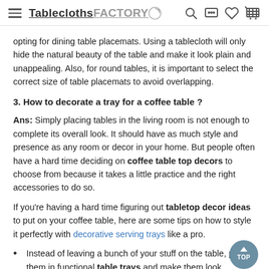TableclothsFACTORY.com
opting for dining table placemats. Using a tablecloth will only hide the natural beauty of the table and make it look plain and unappealing. Also, for round tables, it is important to select the correct size of table placemats to avoid overlapping.
3. How to decorate a tray for a coffee table ?
Ans: Simply placing tables in the living room is not enough to complete its overall look. It should have as much style and presence as any room or decor in your home. But people often have a hard time deciding on coffee table top decors to choose from because it takes a little practice and the right accessories to do so.
If you're having a hard time figuring out tabletop decor ideas to put on your coffee table, here are some tips on how to style it perfectly with decorative serving trays like a pro.
Instead of leaving a bunch of your stuff on the table, put them in functional table trays and make them look organized and purposeful.
Fill a round table tray decor with decorative items such as books,